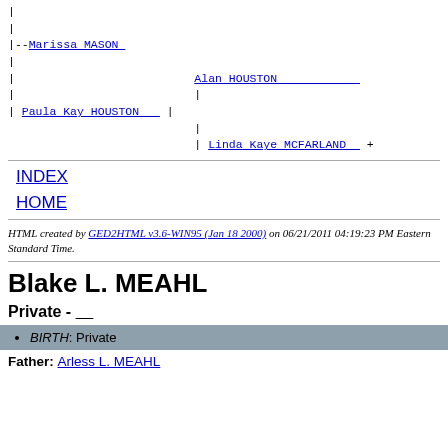[Figure (other): Genealogy tree diagram showing family relationships with lines connecting Marissa MASON, Alan HOUSTON, Paula Kay HOUSTON, and Linda Kaye MCFARLAND]
INDEX
HOME
HTML created by GED2HTML v3.6-WIN95 (Jan 18 2000) on 06/21/2011 04:19:23 PM Eastern Standard Time.
Blake L. MEAHL
Private - ____
BIRTH: Private
Father: Arless L. MEAHL